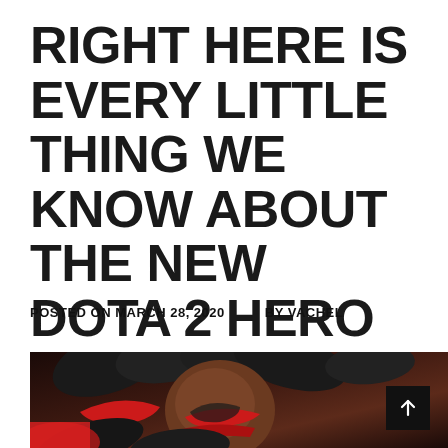RIGHT HERE IS EVERY LITTLE THING WE KNOW ABOUT THE NEW DOTA 2 HERO VOID SPIRIT
POSTED ON MARCH 28, 2020   BY VACHEL
[Figure (photo): Close-up photo of the Dota 2 hero Void Spirit, showing dark feathers and red/black armor detail]